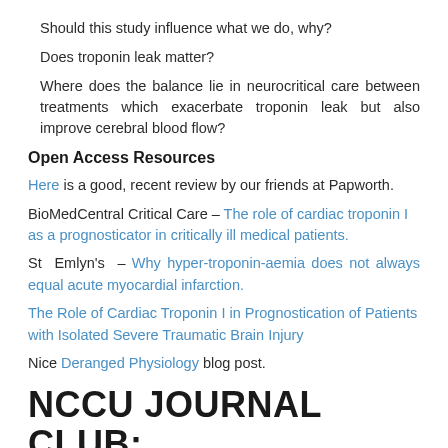Should this study influence what we do, why?
Does troponin leak matter?
Where does the balance lie in neurocritical care between treatments which exacerbate troponin leak but also improve cerebral blood flow?
Open Access Resources
Here is a good, recent review by our friends at Papworth.
BioMedCentral Critical Care – The role of cardiac troponin I as a prognosticator in critically ill medical patients.
St Emlyn's – Why hyper-troponin-aemia does not always equal acute myocardial infarction.
The Role of Cardiac Troponin I in Prognostication of Patients with Isolated Severe Traumatic Brain Injury
Nice Deranged Physiology blog post.
NCCU JOURNAL CLUB: EARLY TROPONIN I IN